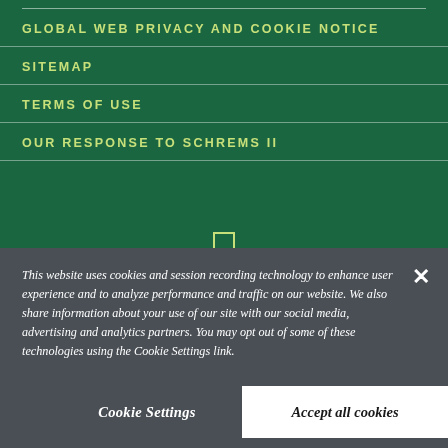GLOBAL WEB PRIVACY AND COOKIE NOTICE
SITEMAP
TERMS OF USE
OUR RESPONSE TO SCHREMS II
This website uses cookies and session recording technology to enhance user experience and to analyze performance and traffic on our website. We also share information about your use of our site with our social media, advertising and analytics partners. You may opt out of some of these technologies using the Cookie Settings link.
Cookie Settings
Accept all cookies